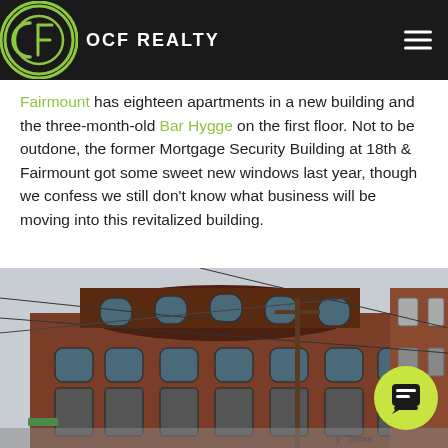OCF REALTY
building at the corner of 17th & Fairmount into lofts, and a branch on the corner. On the south side of the 1700 block, Fairmount has eighteen apartments in a new building and the three-month-old Bar Hygge on the first floor. Not to be outdone, the former Mortgage Security Building at 18th & Fairmount got some sweet new windows last year, though we confess we still don't know what business will be moving into this revitalized building.
[Figure (photo): Street-level photo looking up at a large multi-story red brick building (the former Mortgage Security Building) at 18th & Fairmount, showing arched windows across multiple floors and utility lines in the foreground. A smaller brick building is visible to the right.]